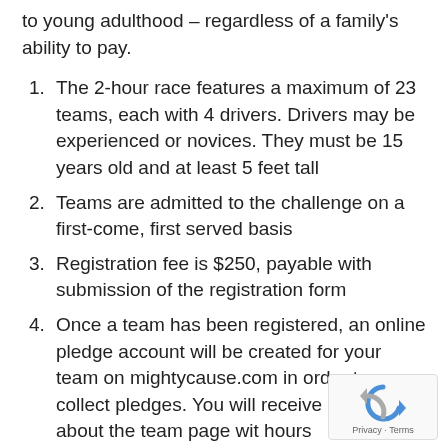to young adulthood – regardless of a family's ability to pay.
The 2-hour race features a maximum of 23 teams, each with 4 drivers. Drivers may be experienced or novices. They must be 15 years old and at least 5 feet tall
Teams are admitted to the challenge on a first-come, first served basis
Registration fee is $250, payable with submission of the registration form
Once a team has been registered, an online pledge account will be created for your team on mightycause.com in order to collect pledges. You will receive information about the team page wit hours
5. (partial, cut off)